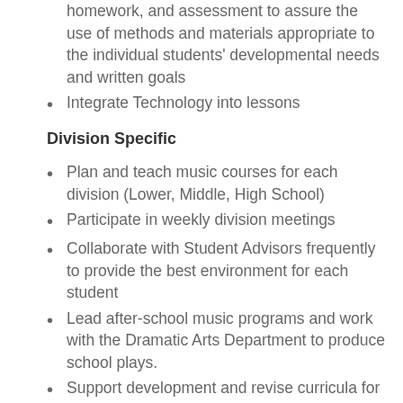homework, and assessment to assure the use of methods and materials appropriate to the individual students' developmental needs and written goals
Integrate Technology into lessons
Division Specific
Plan and teach music courses for each division (Lower, Middle, High School)
Participate in weekly division meetings
Collaborate with Student Advisors frequently to provide the best environment for each student
Lead after-school music programs and work with the Dramatic Arts Department to produce school plays.
Support development and revise curricula for music instruction, incorporating Orff and Kodaly methodologies
Integrate best practices for instructing students